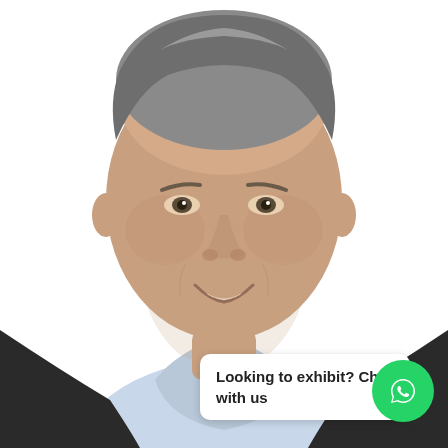[Figure (photo): Professional headshot of a middle-aged man with short grey hair, smiling, wearing a dark suit jacket and light blue collared shirt, against a white background.]
Looking to exhibit? Chat with us